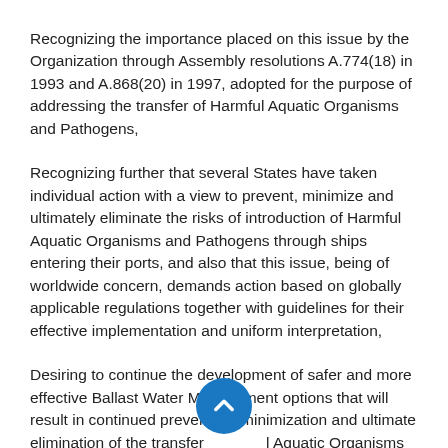Recognizing the importance placed on this issue by the Organization through Assembly resolutions A.774(18) in 1993 and A.868(20) in 1997, adopted for the purpose of addressing the transfer of Harmful Aquatic Organisms and Pathogens,
Recognizing further that several States have taken individual action with a view to prevent, minimize and ultimately eliminate the risks of introduction of Harmful Aquatic Organisms and Pathogens through ships entering their ports, and also that this issue, being of worldwide concern, demands action based on globally applicable regulations together with guidelines for their effective implementation and uniform interpretation,
Desiring to continue the development of safer and more effective Ballast Water Management options that will result in continued prevention, minimization and ultimate elimination of the transfer of Harmful Aquatic Organisms